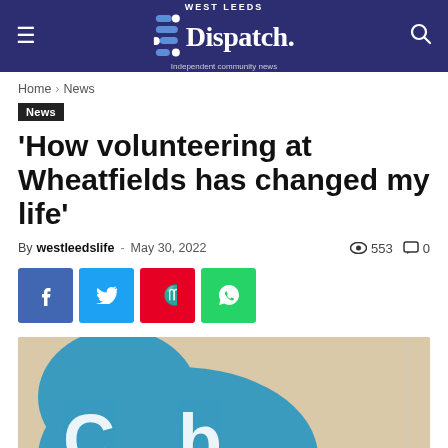West Leeds Dispatch — Independent community news
Home › News
News
'How volunteering at Wheatfields has changed my life'
By westleedslife - May 30, 2022  553  0
[Figure (illustration): Blue elephant logo/illustration with partial text visible, on a beige background]
[Figure (infographic): Social sharing buttons: Facebook, Twitter, Pinterest, WhatsApp]